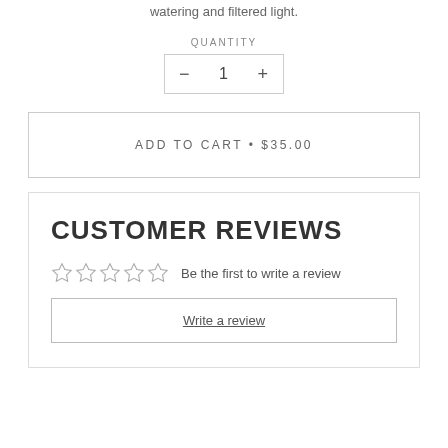watering and filtered light.
QUANTITY
[Figure (other): Quantity selector with minus button, number 1, and plus button inside a bordered box]
ADD TO CART • $35.00
CUSTOMER REVIEWS
☆☆☆☆☆  Be the first to write a review
Write a review